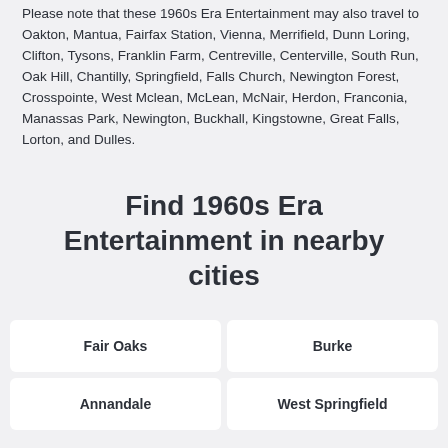Please note that these 1960s Era Entertainment may also travel to Oakton, Mantua, Fairfax Station, Vienna, Merrifield, Dunn Loring, Clifton, Tysons, Franklin Farm, Centreville, Centerville, South Run, Oak Hill, Chantilly, Springfield, Falls Church, Newington Forest, Crosspointe, West Mclean, McLean, McNair, Herdon, Franconia, Manassas Park, Newington, Buckhall, Kingstowne, Great Falls, Lorton, and Dulles.
Find 1960s Era Entertainment in nearby cities
Fair Oaks
Burke
Annandale
West Springfield